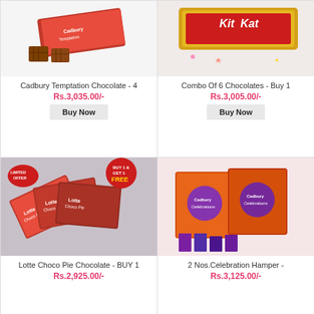[Figure (photo): Cadbury Temptation Chocolate product image with chocolate pieces]
Cadbury Temptation Chocolate - 4
Rs.3,035.00/-
Buy Now
[Figure (photo): Combo Of 6 Chocolates KitKat product image]
Combo Of 6 Chocolates - Buy 1
Rs.3,005.00/-
Buy Now
[Figure (photo): Lotte Choco Pie Chocolate BUY 1 GET 1 FREE promotional image with red packaging]
Lotte Choco Pie Chocolate - BUY 1
Rs.2,925.00/-
[Figure (photo): 2 Nos. Celebration Hamper - Cadbury Celebrations boxes with chocolates]
2 Nos.Celebration Hamper -
Rs.3,125.00/-